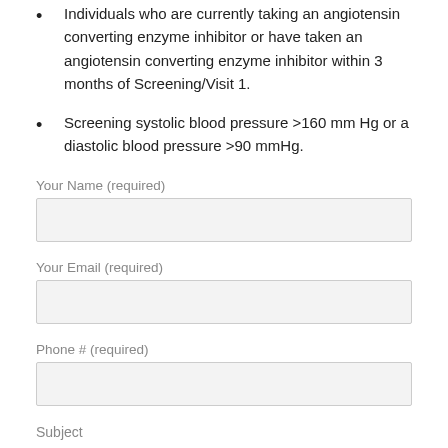Individuals who are currently taking an angiotensin converting enzyme inhibitor or have taken an angiotensin converting enzyme inhibitor within 3 months of Screening/Visit 1.
Screening systolic blood pressure >160 mm Hg or a diastolic blood pressure >90 mmHg.
Your Name (required)
Your Email (required)
Phone # (required)
Subject